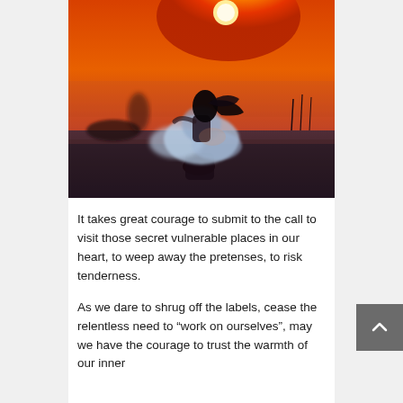[Figure (photo): A woman with long dark hair wearing a flowing light blue/white dress running through a field at sunset. The sky is vivid orange-red with the sun visible near the top. The scene is atmospheric and slightly blurred.]
It takes great courage to submit to the call to visit those secret vulnerable places in our heart, to weep away the pretenses, to risk tenderness.
As we dare to shrug off the labels, cease the relentless need to “work on ourselves”, may we have the courage to trust the warmth of our inner